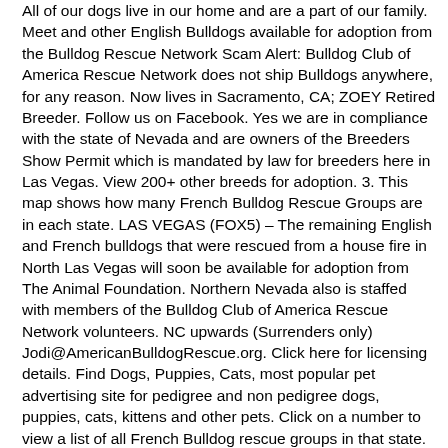All of our dogs live in our home and are a part of our family. Meet and other English Bulldogs available for adoption from the Bulldog Rescue Network Scam Alert: Bulldog Club of America Rescue Network does not ship Bulldogs anywhere, for any reason. Now lives in Sacramento, CA; ZOEY Retired Breeder. Follow us on Facebook. Yes we are in compliance with the state of Nevada and are owners of the Breeders Show Permit which is mandated by law for breeders here in Las Vegas. View 200+ other breeds for adoption. 3. This map shows how many French Bulldog Rescue Groups are in each state. LAS VEGAS (FOX5) – The remaining English and French bulldogs that were rescued from a house fire in North Las Vegas will soon be available for adoption from The Animal Foundation. Northern Nevada also is staffed with members of the Bulldog Club of America Rescue Network volunteers. NC upwards (Surrenders only) Jodi@AmericanBulldogRescue.org. Click here for licensing details. Find Dogs, Puppies, Cats, most popular pet advertising site for pedigree and non pedigree dogs, puppies, cats, kittens and other pets. Click on a number to view a list of all French Bulldog rescue groups in that state. Meet ROSIE, an American Bulldog Mix Dog for adoption, at The Animal Foundation in Las Vegas, NV on Petfinder. ♥    « Back to View More Listings. About Us. Rescue Me! ♥    « Back to View More Listings. Our Dogs of